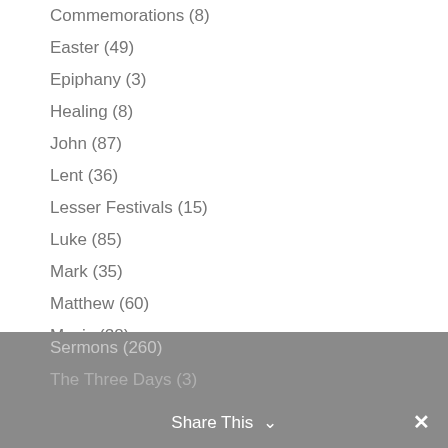Commemorations (8)
Easter (49)
Epiphany (3)
Healing (8)
John (87)
Lent (36)
Lesser Festivals (15)
Luke (85)
Mark (35)
Matthew (60)
Music (28)
Pastor Mark (254)
Pentecost (4)
Principle Festivals (48)
Sermons (260)
The Three Days (3)
Share This ∨  ✕